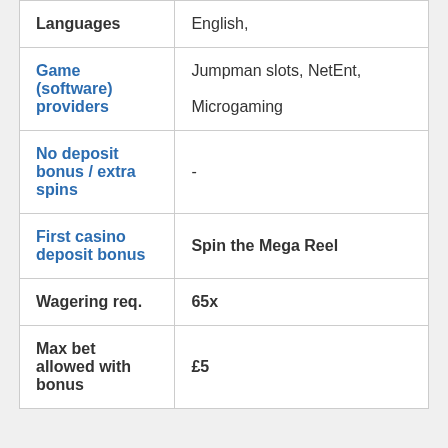| Field | Value |
| --- | --- |
| Languages | English, |
| Game (software) providers | Jumpman slots, NetEnt, Microgaming |
| No deposit bonus / extra spins | - |
| First casino deposit bonus | Spin the Mega Reel |
| Wagering req. | 65x |
| Max bet allowed with bonus | £5 |